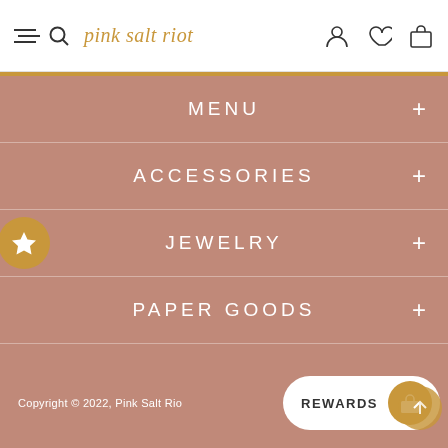pink salt riot
MENU
ACCESSORIES
JEWELRY
PAPER GOODS
Copyright © 2022, Pink Salt Rio